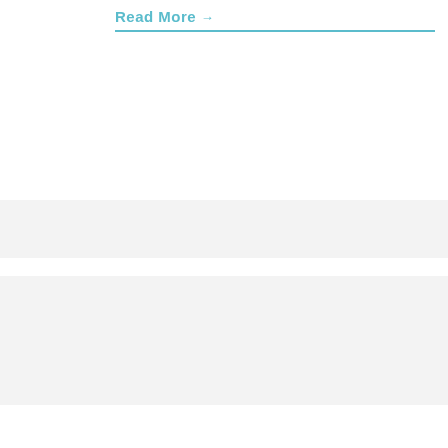Read More →
Winter Cover Crops
[Figure (photo): Three thumbnail images of cover crops in a garden/field]
Posted on OCTOBER 15, 2015 by BETH IATESTA